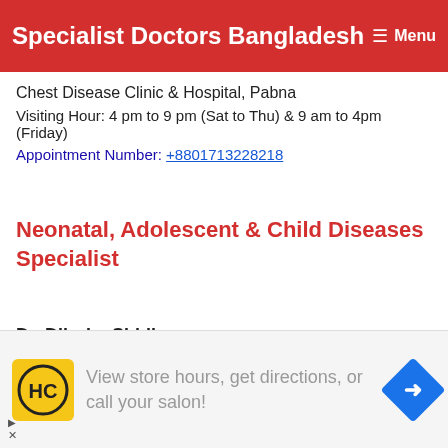Specialist Doctors Bangladesh Menu
Chest Disease Clinic & Hospital, Pabna
Visiting Hour: 4 pm to 9 pm (Sat to Thu) & 9 am to 4pm (Friday)
Appointment Number: +8801713228218
Neonatal, Adolescent & Child Diseases Specialist
Dr. Dilruba Siddique
[Figure (screenshot): Advertisement banner: HC logo, 'View store hours, get directions, or call your salon!' text, and navigation arrow icon]